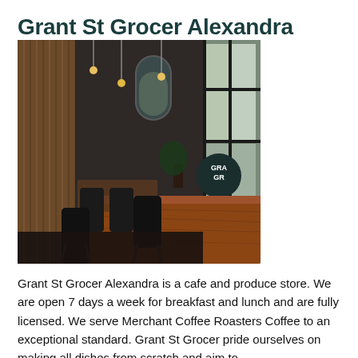Grant St Grocer Alexandra
[Figure (photo): Interior of Grant St Grocer Alexandra cafe showing wooden tables, black chairs, pendant lights, arched mirror, wood slat wall panels, and large windows with a circular logo sign visible outside.]
Grant St Grocer Alexandra is a cafe and produce store. We are open 7 days a week for breakfast and lunch and are fully licensed. We serve Merchant Coffee Roasters Coffee to an exceptional standard. Grant St Grocer pride ourselves on making all dishes from scratch and aim to